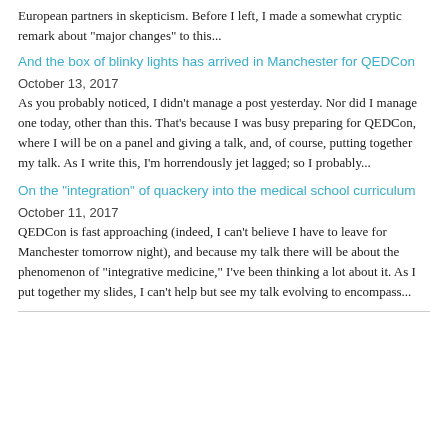European partners in skepticism. Before I left, I made a somewhat cryptic remark about "major changes" to this...
And the box of blinky lights has arrived in Manchester for QEDCon
October 13, 2017
As you probably noticed, I didn't manage a post yesterday. Nor did I manage one today, other than this. That's because I was busy preparing for QEDCon, where I will be on a panel and giving a talk, and, of course, putting together my talk. As I write this, I'm horrendously jet lagged; so I probably...
On the "integration" of quackery into the medical school curriculum
October 11, 2017
QEDCon is fast approaching (indeed, I can't believe I have to leave for Manchester tomorrow night), and because my talk there will be about the phenomenon of "integrative medicine," I've been thinking a lot about it. As I put together my slides, I can't help but see my talk evolving to encompass...